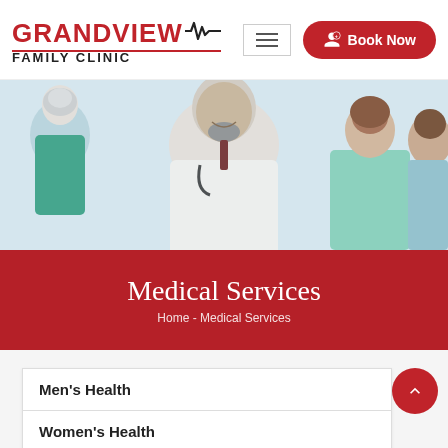[Figure (logo): Grandview Family Clinic logo with red heartbeat line]
[Figure (photo): Medical professionals smiling — a doctor in white coat with stethoscope, nurses in teal scrubs, and a white-haired colleague]
Medical Services
Home - Medical Services
Men's Health
Women's Health